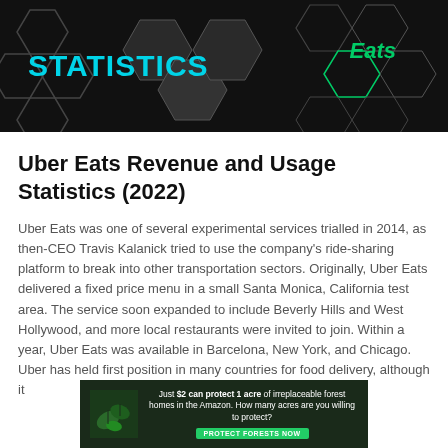[Figure (illustration): Dark banner image with hexagon pattern background. Left side shows 'STATISTICS' in large cyan/teal bold uppercase text. Right side shows 'Eats' in green italic text inside a dark hexagonal shape, suggesting Uber Eats branding.]
Uber Eats Revenue and Usage Statistics (2022)
Uber Eats was one of several experimental services trialled in 2014, as then-CEO Travis Kalanick tried to use the company's ride-sharing platform to break into other transportation sectors. Originally, Uber Eats delivered a fixed price menu in a small Santa Monica, California test area. The service soon expanded to include Beverly Hills and West Hollywood, and more local restaurants were invited to join. Within a year, Uber Eats was available in Barcelona, New York, and Chicago. Uber has held first position in many countries for food delivery, although it
[Figure (illustration): Advertisement banner with dark forest/green background showing leaves. Text reads: 'Just $2 can protect 1 acre of irreplaceable forest homes in the Amazon. How many acres are you willing to protect?' with a green 'PROTECT FORESTS NOW' button.]